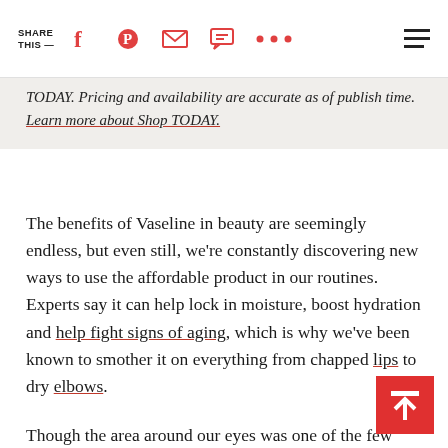SHARE THIS —
TODAY. Pricing and availability are accurate as of publish time. Learn more about Shop TODAY.
The benefits of Vaseline in beauty are seemingly endless, but even still, we're constantly discovering new ways to use the affordable product in our routines. Experts say it can help lock in moisture, boost hydration and help fight signs of aging, which is why we've been known to smother it on everything from chapped lips to dry elbows.
Though the area around our eyes was one of the few places that we hadn't tried it on. So when a TikTok recently posted a video saying that she applies the staple under her eyes instead of using an expensive eye